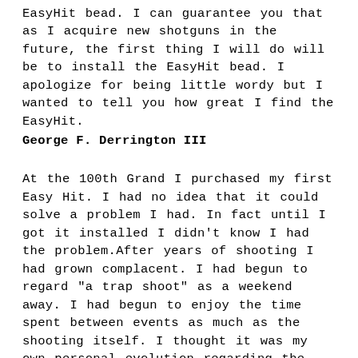EasyHit bead. I can guarantee you that as I acquire new shotguns in the future, the first thing I will do will be to install the EasyHit bead. I apologize for being little wordy but I wanted to tell you how great I find the EasyHit.
George F. Derrington III
At the 100th Grand I purchased my first Easy Hit. I had no idea that it could solve a problem I had. In fact until I got it installed I didn't know I had the problem.After years of shooting I had grown complacent. I had begun to regard "a trap shoot" as a weekend away. I had begun to enjoy the time spent between events as much as the shooting itself. I thought it was my own personal evolution regarding the game.But then I found EasyHit. From the first